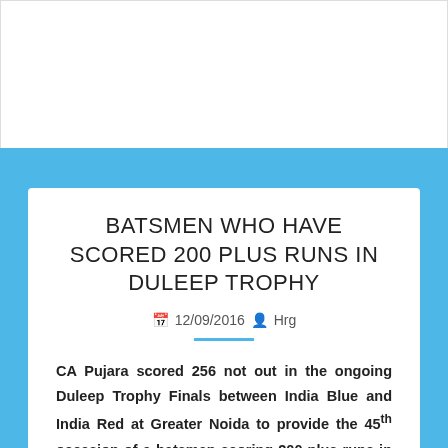BATSMEN WHO HAVE SCORED 200 PLUS RUNS IN DULEEP TROPHY
12/09/2016  Hrg
CA Pujara scored 256 not out in the ongoing Duleep Trophy Finals between India Blue and India Red at Greater Noida to provide the 45th occasion of a batsman scoring 200 plus runs in the history of Duleep Trophy. All such occasions are listed below